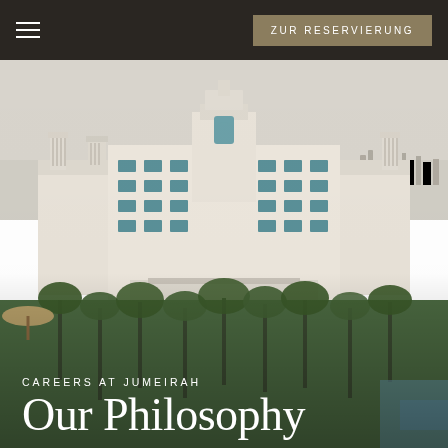ZUR RESERVIERUNG
[Figure (photo): Aerial/elevated view of the Jumeirah hotel property — a large white Arabic-style palace building with ornate towers and wind towers, surrounded by palm trees and lush green grounds. The building is multi-storey with teal/green accented windows and arched architectural details. Background shows a hazy city skyline.]
CAREERS AT JUMEIRAH
Our Philosophy